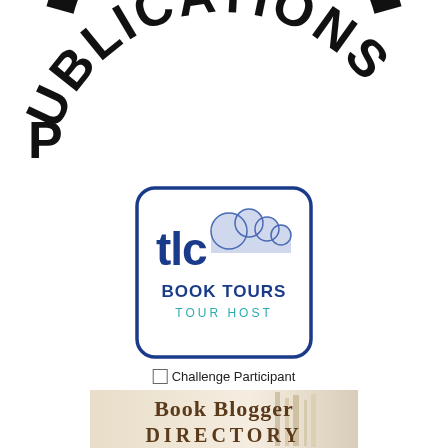[Figure (logo): Partial circular logo with text 'PUBLICATIONS' in bold arched letters, black, with circular graphic elements at top]
[Figure (logo): TLC Book Tours Tour Host badge — rounded rectangle with blue border, cloud icon with 'tlc' text, 'BOOK TOURS' in dark blue, 'TOUR HOST' in teal]
Challenge Participant
[Figure (illustration): Book Blogger Directory banner image with beige/cream background, stacked books or shelves visible, text reads 'Book Blogger DIRECTORY' in serif font]